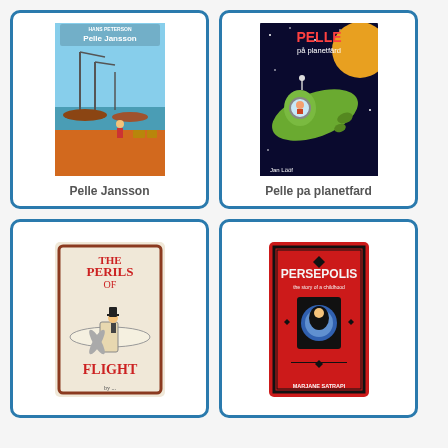[Figure (illustration): Book cover of 'Pelle Jansson' by Hans Peterson showing a child near a harbor with boats and cranes, blue and orange tones]
Pelle Jansson
[Figure (illustration): Book cover of 'Pelle pa planetfard' showing a green spaceship flying in a dark starry sky with a planet in background]
Pelle pa planetfard
[Figure (illustration): Book cover of 'The Perils of Flight' showing a vintage illustration of a man in top hat on an early airplane]
[Figure (illustration): Book cover of 'Persepolis' by Marjane Satrapi, red cover with black geometric ornamental frame, figure in center]